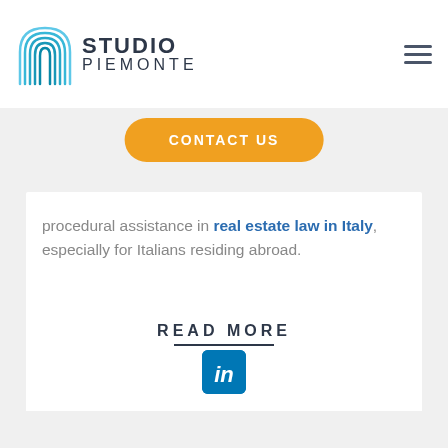[Figure (logo): Studio Piemonte logo with teal/cyan arch building icon and text STUDIO PIEMONTE]
[Figure (other): Hamburger menu icon with three horizontal lines]
CONTACT US
procedural assistance in real estate law in Italy, especially for Italians residing abroad.
READ MORE
[Figure (other): LinkedIn social media icon — blue square with white 'in' text]